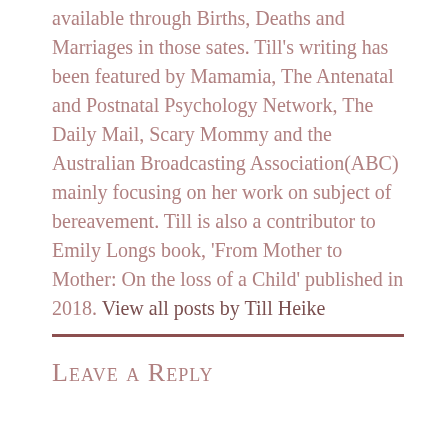available through Births, Deaths and Marriages in those sates. Till's writing has been featured by Mamamia, The Antenatal and Postnatal Psychology Network, The Daily Mail, Scary Mommy and the Australian Broadcasting Association(ABC) mainly focusing on her work on subject of bereavement. Till is also a contributor to Emily Longs book, 'From Mother to Mother: On the loss of a Child' published in 2018. View all posts by Till Heike
Leave a Reply